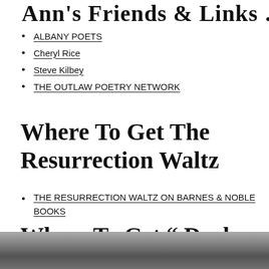Ann's Friends & Links …
ALBANY POETS
Cheryl Rice
Steve Kilbey
THE OUTLAW POETRY NETWORK
Where To Get The Resurrection Waltz
THE RESURRECTION WALTZ ON BARNES & NOBLE BOOKS
Where To Get " Dark Lands" By R.M. Engelhardt
[Figure (photo): Grayscale photo strip at the bottom of the page, partially visible]